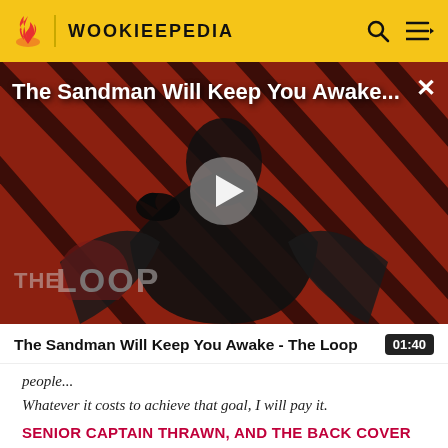WOOKIEEPEDIA
[Figure (screenshot): Video thumbnail with a dark-cloaked figure holding a raven against a red diagonal-striped background. 'The Sandman Will Keep You Awake...' title appears as overlay text. A play button triangle is centered. 'THE LOOP' logo appears bottom-left. A close X button is top-right.]
The Sandman Will Keep You Awake - The Loop
people...
Whatever it costs to achieve that goal, I will pay it.
SENIOR CAPTAIN THRAWN, AND THE BACK COVER